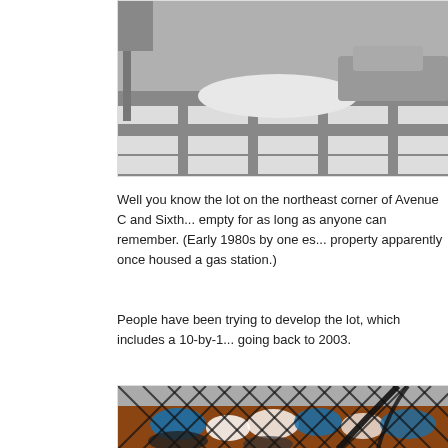[Figure (photo): Black and white photo of a street crosswalk with snow pile and parked car]
Well you know the lot on the northeast corner of Avenue C and Sixth... empty for as long as anyone can remember. (Early 1980s by one es... property apparently once housed a gas station.)
People have been trying to develop the lot, which includes a 10-by-1... going back to 2003.
[Figure (photo): Color photo of graffiti-covered wall seen through a chain-link fence]